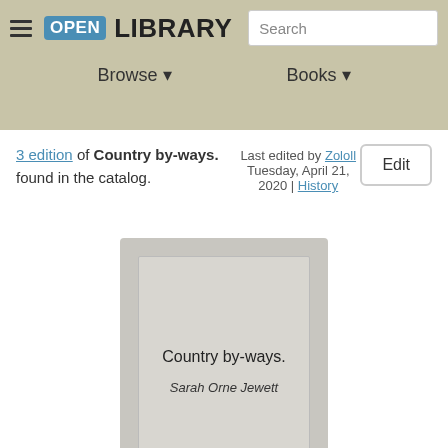Open Library — Browse ▼  Books ▼  Search
3 edition of Country by-ways. found in the catalog.
Last edited by Zololl  Tuesday, April 21, 2020 | History
Edit
[Figure (illustration): Book cover placeholder showing title 'Country by-ways.' and author 'Sarah Orne Jewett' on a grey background]